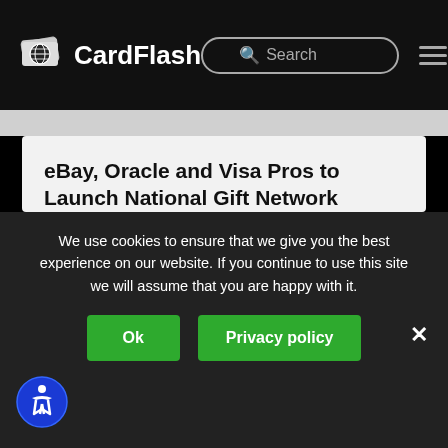CardFlash
eBay, Oracle and Visa Pros to Launch National Gift Network
9, Country, Priority, UNITED STATES • By Robert McKinley • 05/11/2011
A team of veterans from some of the biggest companies in banking, retail and e-commerce – including former eBay and Best Buy CMO Mike Linton, former Visa
We use cookies to ensure that we give you the best experience on our website. If you continue to use this site we will assume that you are happy with it.